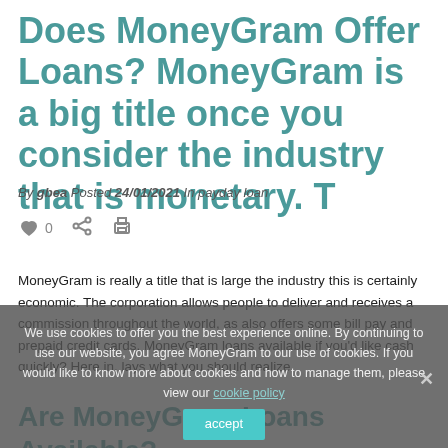Does MoneyGram Offer Loans? MoneyGram is a big title once you consider the industry that is monetary. T
By gbea Posted 24/01/2021 In payday loan
[Figure (other): Heart icon with count 0, share icon, print icon]
MoneyGram is really a title that is large the industry this is certainly economic. The corporation allows people to deliver and receives a commission throughout the world, as also offers some bill pay and prepaid credit cards. MoneyGram loans available if you'd like cash quickly? Here in, lays what you should realize.
We use cookies to offer you the best experience online. By continuing to use our website, you agree MoneyGram to our use of cookies. If you would like to know more about cookies and how to manage them, please view our cookie policy
Are MoneyGram Loans Available?